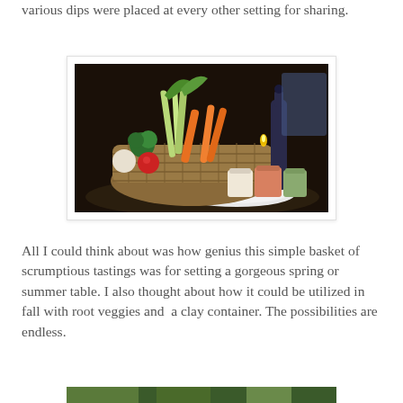various dips were placed at every other setting for sharing.
[Figure (photo): A wicker basket filled with raw vegetables (carrots, celery, broccoli, tomatoes, leeks) displayed on a white plate alongside small glass jars of dipping sauces, with a candle and bottle visible in the dark restaurant background.]
All I could think about was how genius this simple basket of scrumptious tastings was for setting a gorgeous spring or summer table. I also thought about how it could be utilized in fall with root veggies and  a clay container. The possibilities are endless.
[Figure (photo): Partial view of another food/garden photo at the bottom of the page.]